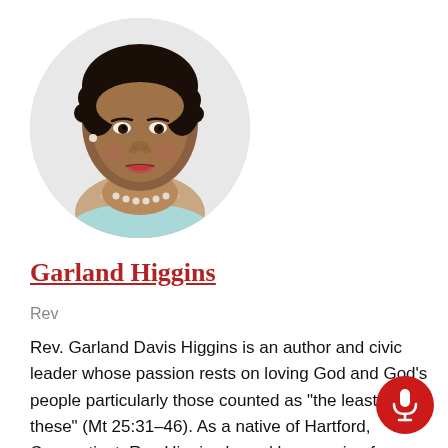[Figure (photo): Circular headshot photo of Rev. Garland Higgins, a woman with dark hair, smiling, wearing pearl necklace and blue top, against a white/grey background.]
Garland Higgins
Rev
Rev. Garland Davis Higgins is an author and civic leader whose passion rests on loving God and God’s people particularly those counted as “the least of these” (Mt 25:31–46). As a native of Hartford, Connecticut, Rev Higgins honed her passion for building relationships as a